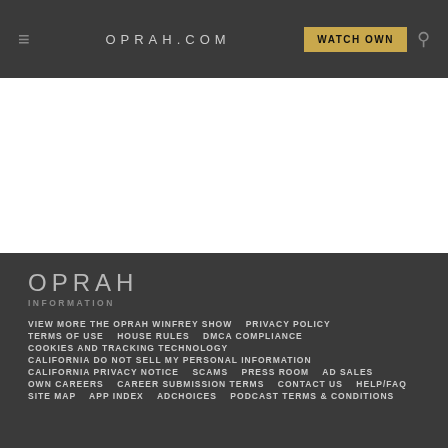OPRAH.COM | WATCH OWN
OPRAH
INFORMATION
VIEW MORE THE OPRAH WINFREY SHOW   PRIVACY POLICY
TERMS OF USE   HOUSE RULES   DMCA COMPLIANCE
COOKIES AND TRACKING TECHNOLOGY
CALIFORNIA DO NOT SELL MY PERSONAL INFORMATION
CALIFORNIA PRIVACY NOTICE   SCAMS   PRESS ROOM   AD SALES
OWN CAREERS   CAREER SUBMISSION TERMS   CONTACT US   HELP/FAQ
SITE MAP   APP INDEX   ADCHOICES   PODCAST TERMS & CONDITIONS